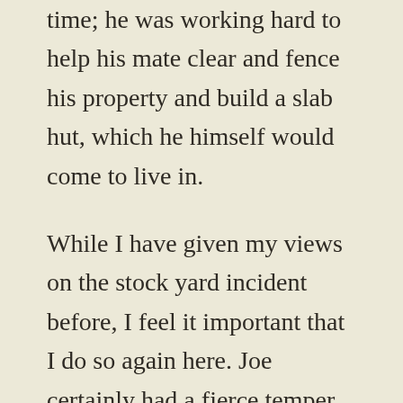time; he was working hard to help his mate clear and fence his property and build a slab hut, which he himself would come to live in.

While I have given my views on the stock yard incident before, I feel it important that I do so again here. Joe certainly had a fierce temper, and this is something that I do accept and would never shy away from. No